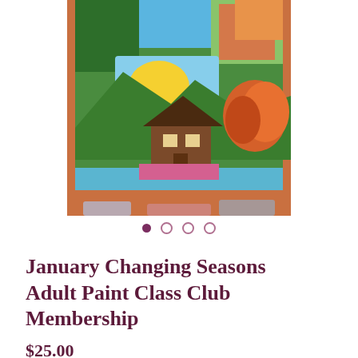[Figure (photo): A person's hand holding a small painting or book showing four seasons scenes: a cabin in the woods depicted in summer, autumn, winter, and spring, with vibrant colors of green trees, orange autumn leaves, and blue sky.]
• • • •
January Changing Seasons Adult Paint Class Club Membership
$25.00